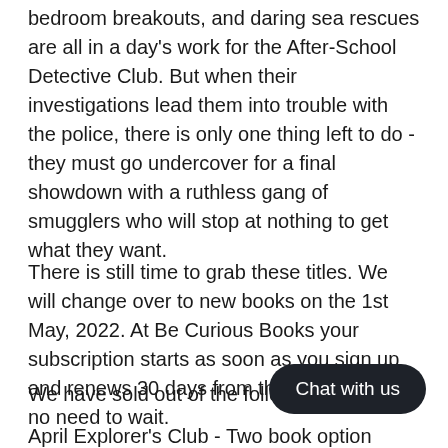bedroom breakouts, and daring sea rescues are all in a day's work for the After-School Detective Club. But when their investigations lead them into trouble with the police, there is only one thing left to do - they must go undercover for a final showdown with a ruthless gang of smugglers who will stop at nothing to get what they want.
There is still time to grab these titles. We will change over to new books on the 1st May, 2022. At Be Curious Books your subscription starts as soon as you sign up and renews 30 days from that date. There is no need to wait.
We have sold out of the following
April Explorer's Club - Two book option